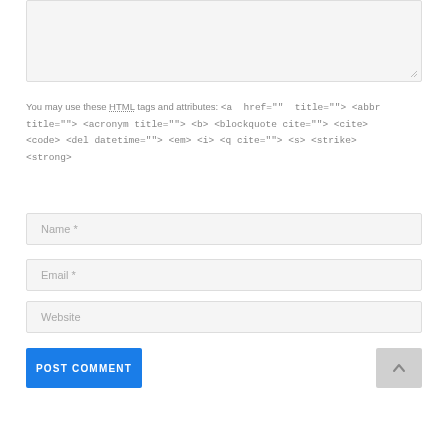[Figure (screenshot): Comment textarea input box (empty, light gray background with resize handle at bottom right)]
You may use these HTML tags and attributes: <a href="" title=""> <abbr title=""> <acronym title=""> <b> <blockquote cite=""> <cite> <code> <del datetime=""> <em> <i> <q cite=""> <s> <strike> <strong>
[Figure (screenshot): Name text input field with placeholder 'Name *']
[Figure (screenshot): Email text input field with placeholder 'Email *']
[Figure (screenshot): Website text input field with placeholder 'Website']
[Figure (screenshot): POST COMMENT button (blue) and scroll-to-top button (gray with up arrow)]